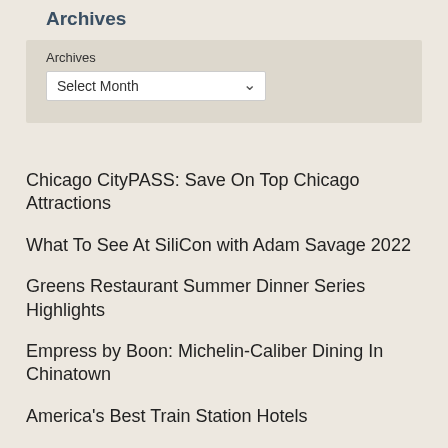Archives
Archives
Select Month
Chicago CityPASS: Save On Top Chicago Attractions
What To See At SiliCon with Adam Savage 2022
Greens Restaurant Summer Dinner Series Highlights
Empress by Boon: Michelin-Caliber Dining In Chinatown
America's Best Train Station Hotels